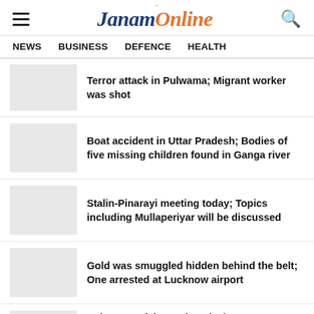[Figure (logo): JanamOnline logo with hamburger menu icon on left and search icon on right]
NEWS   BUSINESS   DEFENCE   HEALTH
Terror attack in Pulwama; Migrant worker was shot
Boat accident in Uttar Pradesh; Bodies of five missing children found in Ganga river
Stalin-Pinarayi meeting today; Topics including Mullaperiyar will be discussed
Gold was smuggled hidden behind the belt; One arrested at Lucknow airport
Asia Cup Cricket; Sri Lanka beats Bangladesh